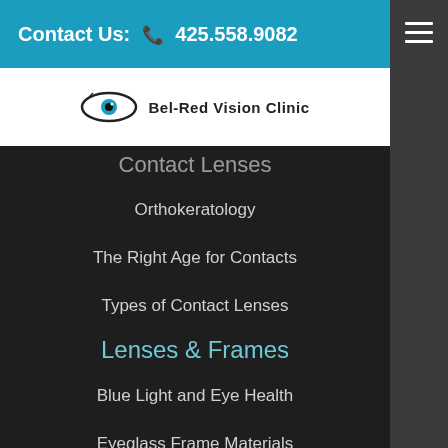Contact Us: 425.558.9082
[Figure (logo): Bel-Red Vision Clinic logo with eye graphic and text 'Bel-Red Vision Clinic']
Contact Lenses
Orthokeratology
The Right Age for Contacts
Types of Contact Lenses
Lenses & Frames
Blue Light and Eye Health
Eyeglass Frame Materials
High Definition Lenses
No Glare Lenses
Progressive Lenses